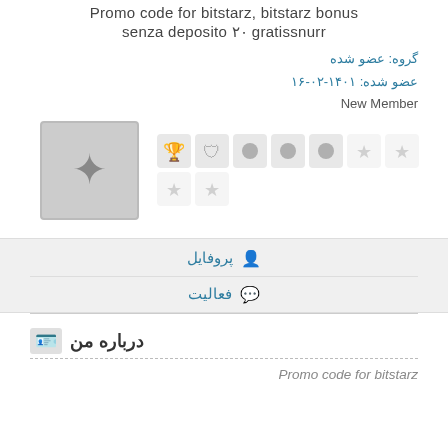Promo code for bitstarz, bitstarz bonus senza deposito ۲۰ gratissnurr
گروه: عضو شده
عضو شده: ۱۴۰۱-۰۲-۱۶
New Member
[Figure (illustration): User avatar placeholder with a star icon on grey background, followed by a row of badge/achievement icons including trophy, shield, circles, and star ratings]
پروفایل 👤
فعالیت 💬
درباره من
Promo code for bitstarz